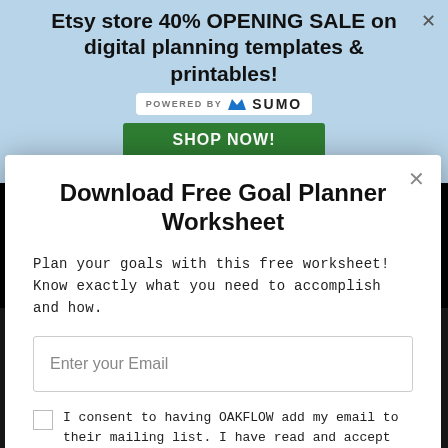[Figure (screenshot): Light blue banner advertising Etsy store 40% OPENING SALE on digital planning templates & printables, with POWERED BY SUMO badge and SHOP NOW button]
Download Free Goal Planner Worksheet
Plan your goals with this free worksheet! Know exactly what you need to accomplish and how.
Enter your Email (input field placeholder)
I consent to having OAKFLOW add my email to their mailing list. I have read and accept the Privacy Policy and Terms of Service.
ACCESS WORKSHEET (button)
©2022 GROWTH LEARNER